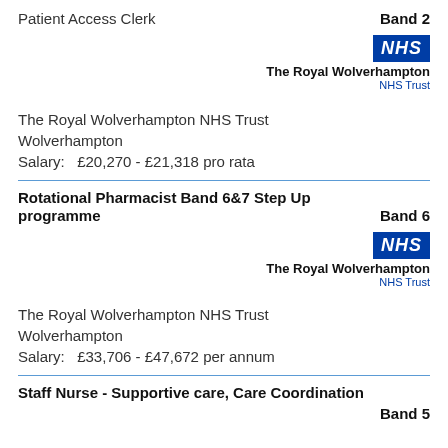Patient Access Clerk
Band 2
[Figure (logo): NHS logo with The Royal Wolverhampton NHS Trust text]
The Royal Wolverhampton NHS Trust
Wolverhampton
Salary:   £20,270 - £21,318 pro rata
Rotational Pharmacist Band 6&7 Step Up programme
Band 6
[Figure (logo): NHS logo with The Royal Wolverhampton NHS Trust text]
The Royal Wolverhampton NHS Trust
Wolverhampton
Salary:   £33,706 - £47,672 per annum
Staff Nurse - Supportive care, Care Coordination
Band 5